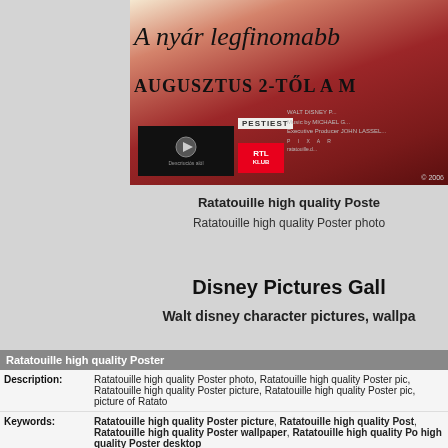[Figure (photo): Ratatouille movie poster in Hungarian with large red/purple onion background, 'A nyár legfinomabb' text, 'AUGUSZTUS 2-TŐL A M' subtitle, PESTIEST logo, RTL KLUB logo, Pixar/Walt Disney branding, play button icon, © 2006]
Ratatouille high quality Poste
Ratatouille high quality Poster photo
Disney Pictures Gall
Walt disney character pictures, wallpa
| Ratatouille high quality Poster |
| --- |
| Description: | Ratatouille high quality Poster photo, Ratatouille high quality Poster pic, Ratatouille high quality Poster picture, Ratatouille high quality Poster pic, picture of Ratato... |
| Keywords: | Ratatouille high quality Poster picture, Ratatouille high quality Poster, Ratatouille high quality Poster wallpaper, Ratatouille high quality Poster desktop |